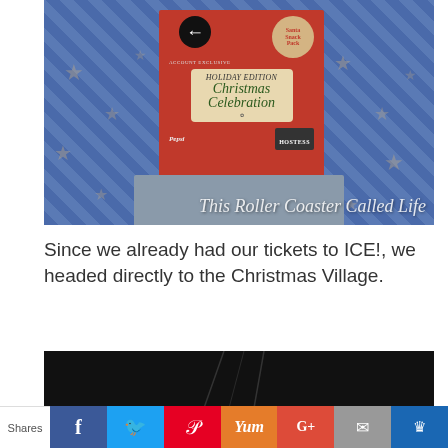[Figure (photo): Photo of a red Christmas soda display box (Christmas Celebration edition with Pepsi branding) standing on a blue star-patterned carpet. A gray base/tray is beneath it. Watermark text reads 'This Roller Coaster Called Life'.]
Since we already had our tickets to ICE!, we headed directly to the Christmas Village.
[Figure (photo): Partially visible dark photo, appears to be an indoor venue with vertical light streaks.]
This website uses cookies to improve your experience. We'll assume you're ok with this, but you can opt-out if you wish.
Shares | Facebook | Twitter | Pinterest | Yummly | Google+ | Mail | Crown